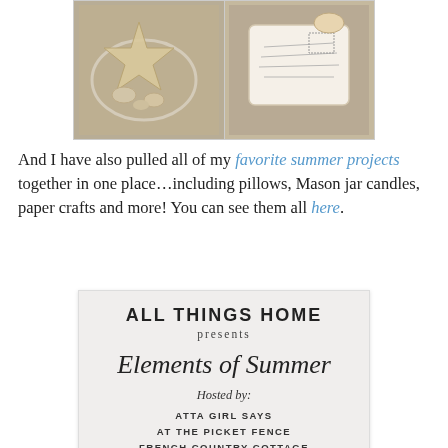[Figure (photo): Two photos side by side: left shows a starfish and shells in a glass bowl, right shows a decorative pillow/sachet with vintage postcard design]
And I have also pulled all of my favorite summer projects together in one place…including pillows, Mason jar candles, paper crafts and more! You can see them all here.
[Figure (infographic): Event invitation card with light gray background. Text reads: ALL THINGS HOME presents Elements of Summer. Hosted by: ATTA GIRL SAYS, AT THE PICKET FENCE, FRENCH COUNTRY COTTAGE, MARTY'S MUSINGS, ON SUTTON PLACE, WORTHING COURT. June 2nd - 6th. Pink flower at bottom.]